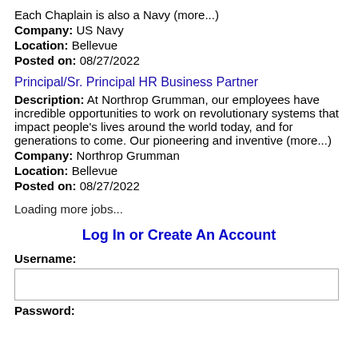Each Chaplain is also a Navy (more...)
Company: US Navy
Location: Bellevue
Posted on: 08/27/2022
Principal/Sr. Principal HR Business Partner
Description: At Northrop Grumman, our employees have incredible opportunities to work on revolutionary systems that impact people's lives around the world today, and for generations to come. Our pioneering and inventive (more...)
Company: Northrop Grumman
Location: Bellevue
Posted on: 08/27/2022
Loading more jobs...
Log In or Create An Account
Username:
Password: